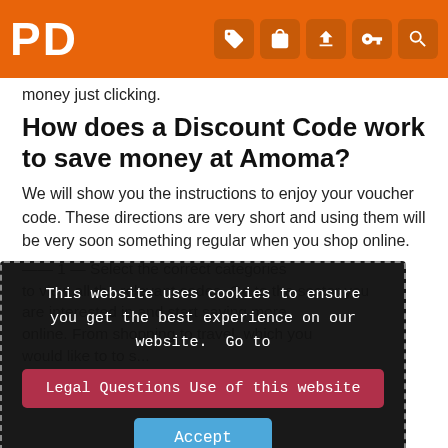PD [navigation icons: tag, bag, upload, key, search]
money just clicking.
How does a Discount Code work to save money at Amoma?
We will show you the instructions to enjoy your voucher code. These directions are very short and using them will be very soon something regular when you shop online.
[Figure (screenshot): Cookie consent popup overlay with dark background and dashed border. Text reads: 'This website uses cookies to ensure you get the best experience on our website. Go to' followed by a red button 'Legal Questions Use of this website' and a blue 'Accept' button.]
--- 1 - Select the correct categories to view all the relevant codes. Go to the sector you are interested in and start saving more online. From shopping to travel, which you would like to to s...
--- Secondly: Once you are on our web about Discounts Codes of Amoma click on the yellow